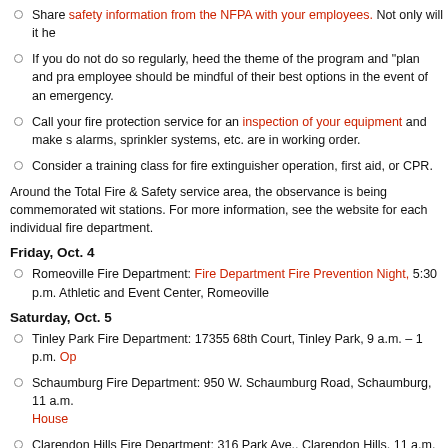Share safety information from the NFPA with your employees. Not only will it he
If you do not do so regularly, heed the theme of the program and "plan and prac employee should be mindful of their best options in the event of an emergency.
Call your fire protection service for an inspection of your equipment and make s alarms, sprinkler systems, etc. are in working order.
Consider a training class for fire extinguisher operation, first aid, or CPR.
Around the Total Fire & Safety service area, the observance is being commemorated wit stations. For more information, see the website for each individual fire department.
Friday, Oct. 4
Romeoville Fire Department: Fire Department Fire Prevention Night, 5:30 p.m. Athletic and Event Center, Romeoville
Saturday, Oct. 5
Tinley Park Fire Department: 17355 68th Court, Tinley Park, 9 a.m. – 1 p.m. Op
Schaumburg Fire Department: 950 W. Schaumburg Road, Schaumburg, 11 a.m. House
Clarendon Hills Fire Department: 316 Park Ave., Clarendon Hills, 11 a.m. – 2 p
Minooka Fire Department: 7901 E. Minooka Road, Minooka, 11 a.m. – 2 p.m. O